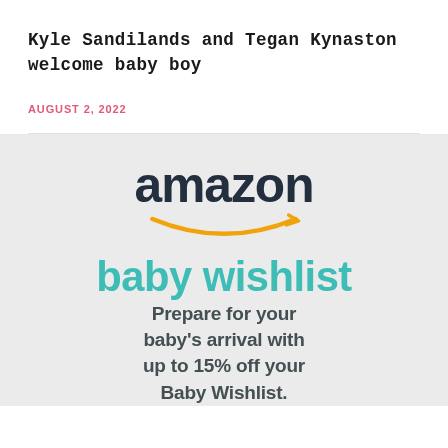Kyle Sandilands and Tegan Kynaston welcome baby boy
AUGUST 2, 2022
[Figure (illustration): Amazon Baby Wishlist advertisement. Shows 'amazon' logo in dark navy with orange arrow swoosh underneath, followed by 'baby wishlist' in teal/turquoise text, and tagline 'Prepare for your baby's arrival with up to 15% off your Baby Wishlist.' on a light grey background.]